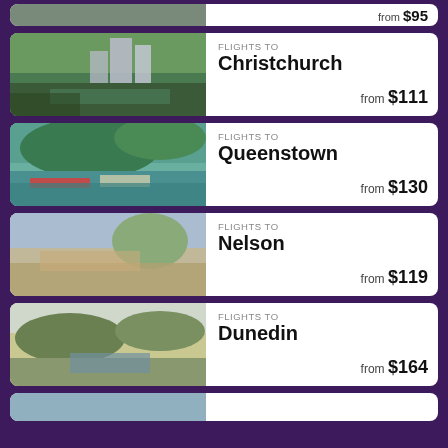[Figure (photo): Partial card at top showing 'from $95' text]
[Figure (photo): Christchurch city with river and buildings amid trees]
FLIGHTS TO Christchurch from $111
[Figure (photo): Queenstown lake scene with boats and green hills]
FLIGHTS TO Queenstown from $130
[Figure (photo): Nelson aerial view of city and harbor]
FLIGHTS TO Nelson from $119
[Figure (photo): Dunedin landscape with hills and inlet]
FLIGHTS TO Dunedin from $164
[Figure (photo): Partial card at bottom, destination not visible]